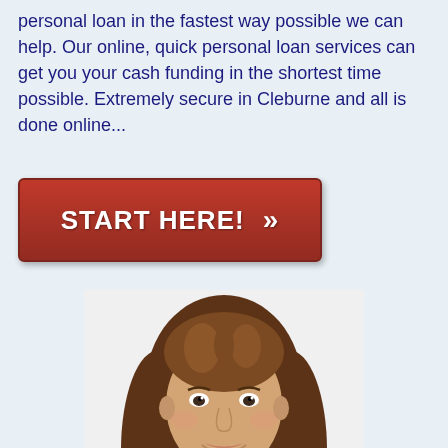personal loan in the fastest way possible we can help. Our online, quick personal loan services can get you your cash funding in the shortest time possible. Extremely secure in Cleburne and all is done online...
[Figure (other): Red button with white text reading START HERE! and double chevron arrows >>]
[Figure (photo): Professional young woman with long brown hair, smiling, wearing a dark blazer over a light blue shirt, photographed from the shoulders up against a white background.]